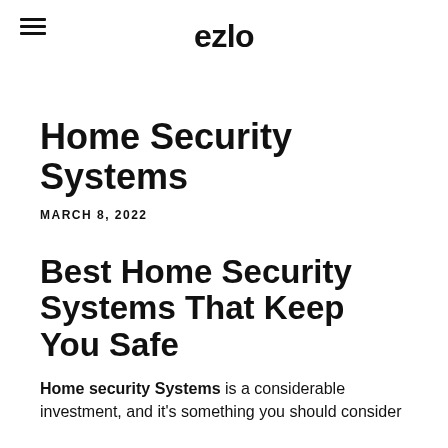ezlo
Home Security Systems
MARCH 8, 2022
Best Home Security Systems That Keep You Safe
Home security Systems is a considerable investment, and it's something you should consider